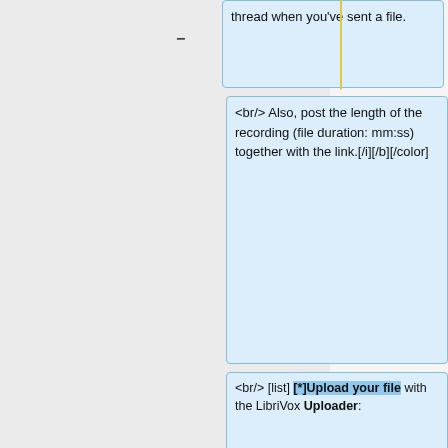[Figure (screenshot): A diff/comparison view showing old (yellow boxes) and new (blue boxes) versions of wiki or forum markup text. Four rows visible: row 1 shows blue box with 'thread when you've sent a file.'; row 2 shows empty yellow box vs blue box with '<br/> Also, post the length of the recording (file duration: mm:ss) together with the link.[/i][/b][/color]'; row 3 shows yellow box 'Please upload with the LibriVox uploader: <br/>' vs blue box '<br/> [list] [*]Upload your file with the LibriVox Uploader:'; row 4 shows yellow 'http://upload.librivox.org <br/>' vs blue '<br/> http://upload.librivox.org <br/> [img]http://kayray.org/audiobooks/librivox/login.jpg[/img]'; row 5 shows yellow '[img]http://kayray.org/audiobooks/librivox/login.jpg[/img] <br/>' vs blue '<br/> (If you have trouble reading the image above, please message an']